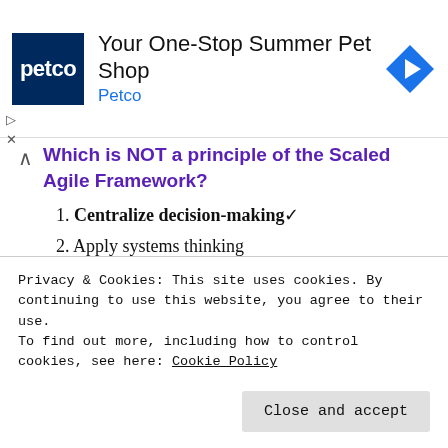[Figure (other): Petco advertisement banner with logo, title 'Your One-Stop Summer Summer Pet Shop', subtitle 'Petco', and a navigation arrow icon]
Which is NOT a principle of the Scaled Agile Framework?
1. Centralize decision-making ✓
2. Apply systems thinking
3. Take an economic view
4. Unlock the intrinsic motivation of knowledge workers
Q74. Which statement concerning small, frequent
Privacy & Cookies: This site uses cookies. By continuing to use this website, you agree to their use. To find out more, including how to control cookies, see here: Cookie Policy